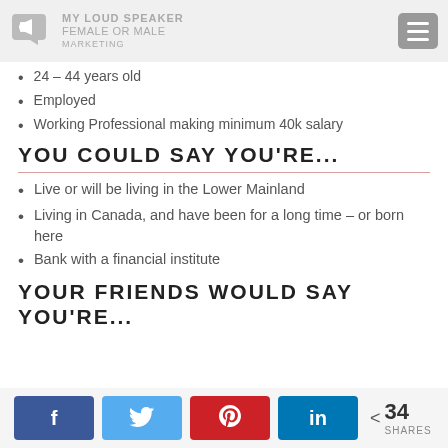MY LOUD SPEAKER MARKETING — Female or Male
24 – 44 years old
Employed
Working Professional making minimum 40k salary
YOU COULD SAY YOU'RE...
Live or will be living in the Lower Mainland
Living in Canada, and have been for a long time – or born here
Bank with a financial institute
YOUR FRIENDS WOULD SAY YOU'RE...
Facebook, Twitter, Pinterest, LinkedIn share buttons — 34 SHARES